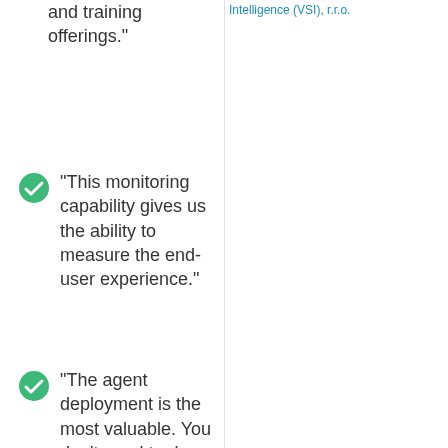and training offerings."
"This monitoring capability gives us the ability to measure the end-user experience."
"The agent deployment is the most valuable. You don't need to do any configuration. You just deploy the agents, and it can